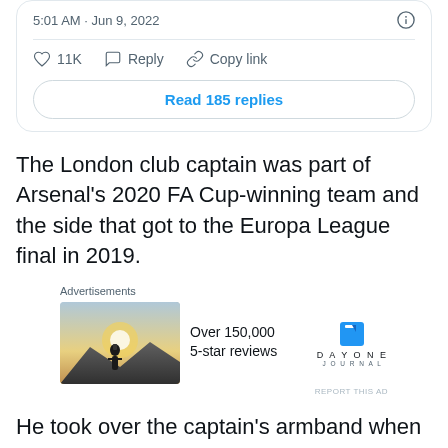5:01 AM · Jun 9, 2022
11K   Reply   Copy link
Read 185 replies
The London club captain was part of Arsenal's 2020 FA Cup-winning team and the side that got to the Europa League final in 2019.
[Figure (photo): Advertisement showing a person photographing a sunset on a mountain, with Day One Journal branding and text 'Over 150,000 5-star reviews']
He took over the captain's armband when Pierre-Emerick Aubameyang fell out of favour with manager Mikel Arteta last December.